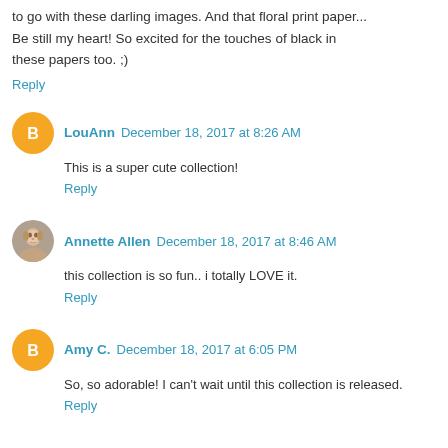to go with these darling images. And that floral print paper... Be still my heart! So excited for the touches of black in these papers too. ;)
Reply
LouAnn December 18, 2017 at 8:26 AM
This is a super cute collection!
Reply
Annette Allen December 18, 2017 at 8:46 AM
this collection is so fun.. i totally LOVE it.
Reply
Amy C. December 18, 2017 at 6:05 PM
So, so adorable! I can't wait until this collection is released.
Reply